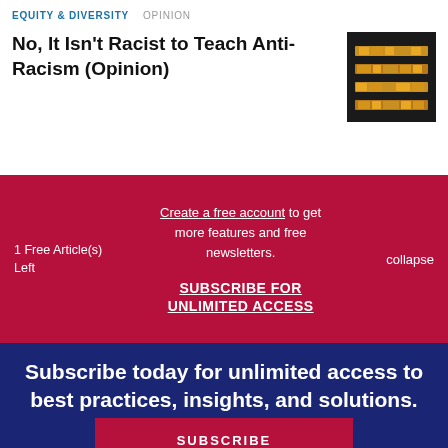EQUITY & DIVERSITY   OPINION
No, It Isn't Racist to Teach Anti-Racism (Opinion)
[Figure (photo): Dark background image with golden/orange horizontal striped pattern, appearing to be a close-up of text or decorative embroidery.]
1 Free Article(s) Left
Create a free account to get more features and free newsletters.
SUBSCRIBE FOR UNLIMITED ACCESS
collapse
Subscribe today for unlimited access to best practices, insights, and solutions.
SUBSCRIBE